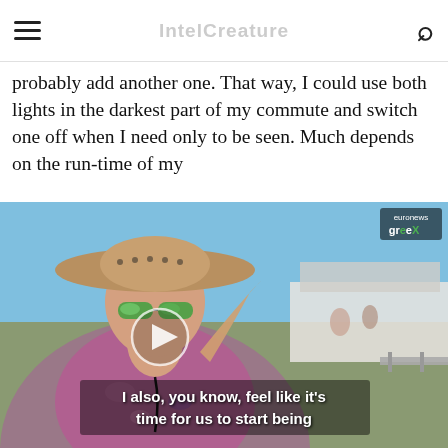≡  [Site title]  🔍
probably add another one. That way, I could use both lights in the darkest part of my commute and switch one off when I need only to be seen. Much depends on the run-time of my
[Figure (photo): Video thumbnail showing a woman in a wide-brimmed hat and sunglasses at an outdoor festival. She is shielding her eyes from the sun. In the background are tents and structures under a blue sky. A play button circle is overlaid on the image. Subtitle text reads: 'I also, you know, feel like it's time for us to start being'. A euronews greex badge appears in the top right corner.]
possibilities is, like, so far out. One of the neatest by-products of this project is the discovery of how many gadgets run on 12V systems at the car shoppe. Can you see me with a 7 amp battery and a 55W halogen car light?